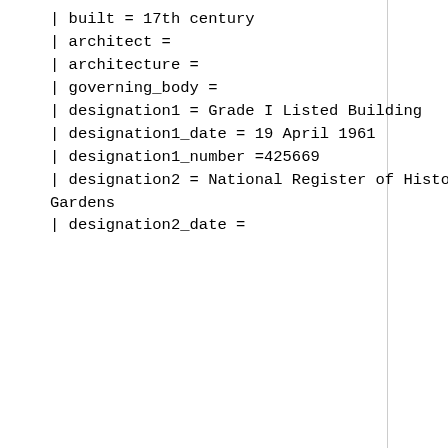| built = 17th century
| architect =
| architecture =
| governing_body =
| designation1 = Grade I Listed Building
| designation1_date = 19 April 1961
| designation1_number =425669
| designation2 = National Register of Historic Parks and Gardens
| designation2_date =